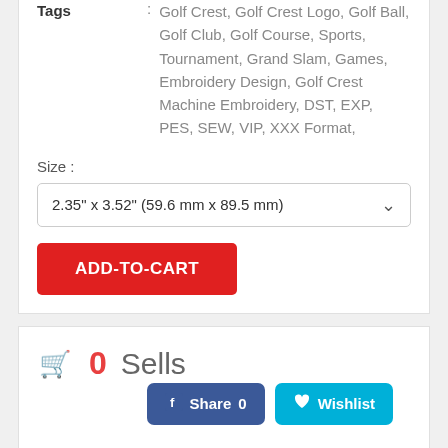Tags : Golf Crest, Golf Crest Logo, Golf Ball, Golf Club, Golf Course, Sports, Tournament, Grand Slam, Games, Embroidery Design, Golf Crest Machine Embroidery, DST, EXP, PES, SEW, VIP, XXX Format,
Size :
2.35" x 3.52" (59.6 mm x 89.5 mm)
ADD-TO-CART
0 Sells
Share 0
Wishlist